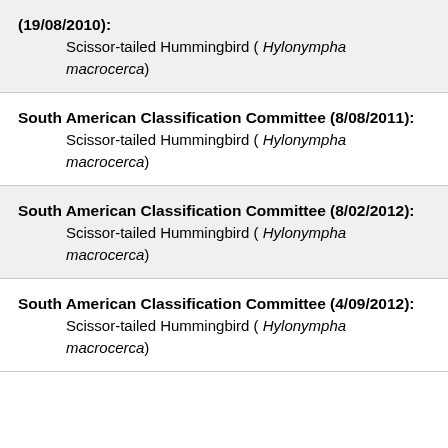(19/08/2010): Scissor-tailed Hummingbird ( Hylonympha macrocerca)
South American Classification Committee (8/08/2011): Scissor-tailed Hummingbird ( Hylonympha macrocerca)
South American Classification Committee (8/02/2012): Scissor-tailed Hummingbird ( Hylonympha macrocerca)
South American Classification Committee (4/09/2012): Scissor-tailed Hummingbird ( Hylonympha macrocerca)